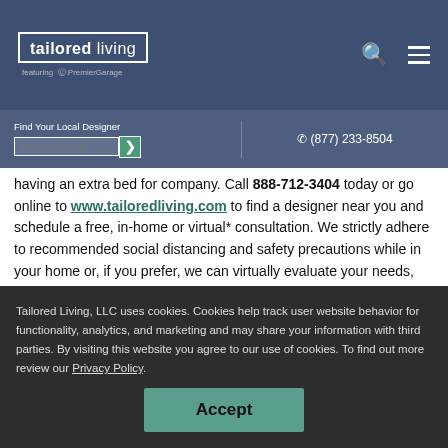tailored living featuring PremierGarage [logo header]
Find Your Local Designer Zip/Postal Code  ☎ (877) 233-8504
having an extra bed for company. Call 888-712-3404 today or go online to www.tailoredliving.com to find a designer near you and schedule a free, in-home or virtual* consultation. We strictly adhere to recommended social distancing and safety precautions while in your home or, if you prefer, we can virtually evaluate your needs, design a Murphy Bed to your specifications, and present a realistic 3D color display so you can see how it will look. When everything is perfect, we'll schedule an installation.
Tailored Living, LLC uses cookies. Cookies help track user website behavior for functionality, analytics, and marketing and may share your information with third parties. By visiting this website you agree to our use of cookies. To find out more review our Privacy Policy.
Accept